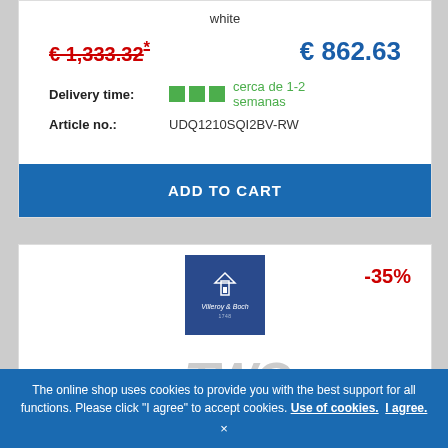white
€ 1,333.32* € 862.63
Delivery time: cerca de 1-2 semanas
Article no.: UDQ1210SQI2BV-RW
ADD TO CART
[Figure (logo): Villeroy & Boch logo on blue square background]
-35%
xTWO
The online shop uses cookies to provide you with the best support for all functions. Please click "I agree" to accept cookies. Use of cookies. I agree.